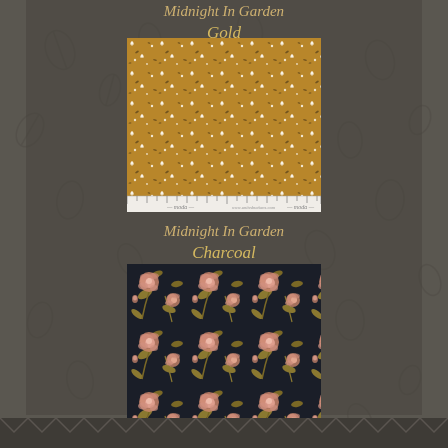Midnight In Garden Gold
[Figure (photo): Gold fabric swatch with small white ditsy floral and dark leaf pattern on golden/mustard background, with ruler and Moda branding at bottom]
Midnight In Garden Charcoal
[Figure (photo): Charcoal/dark navy fabric swatch with large pink roses and gold-green leaves pattern, with ruler and Moda branding at bottom]